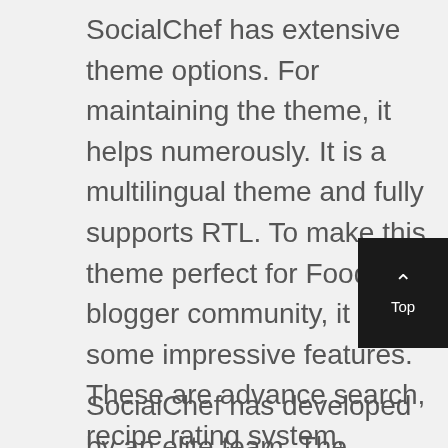SocialChef has extensive theme options. For maintaining the theme, it helps numerously. It is a multilingual theme and fully supports RTL. To make this theme perfect for Food blogger community, it has some impressive features. These are advance search, recipe rating system, 2300+ premium icons, step by step instructions and much more. Moreover, you can make an online store with WooCommerce plugin compatibility.
SocialChef has developed by an elite team. The members of this group